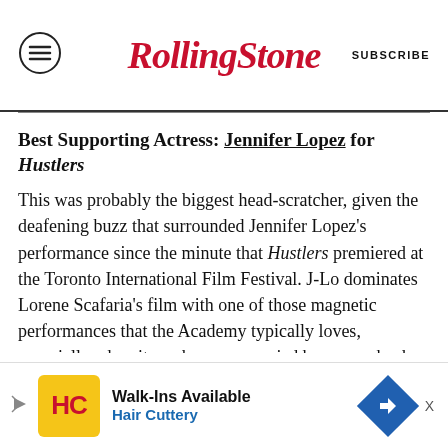Rolling Stone  SUBSCRIBE
Best Supporting Actress: Jennifer Lopez for Hustlers
This was probably the biggest head-scratcher, given the deafening buzz that surrounded Jennifer Lopez’s performance since the minute that Hustlers premiered at the Toronto International Film Festival. J-Lo dominates Lorene Scafaria’s film with one of those magnetic performances that the Academy typically loves, especially when it can be accompanied by a comeback narrative. In fact, there were people all
[Figure (other): Advertisement banner: Walk-Ins Available, Hair Cuttery, with yellow icon and blue diamond arrow logo]